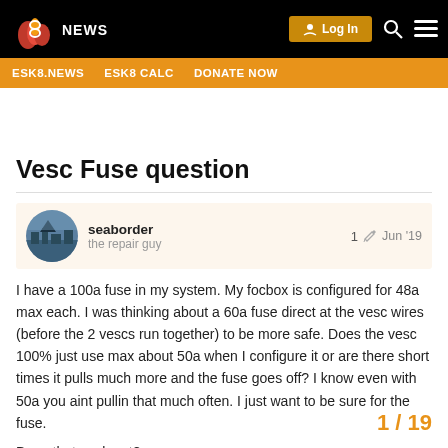ESK8.NEWS | ESK8 CALC | DONATE NOW
Vesc Fuse question
seaborder · the repair guy · 1 · Jun '19
I have a 100a fuse in my system. My focbox is configured for 48a max each. I was thinking about a 60a fuse direct at the vesc wires (before the 2 vescs run together) to be more safe. Does the vesc 100% just use max about 50a when I configure it or are there short times it pulls much more and the fuse goes off? I know even with 50a you aint pullin that much often. I just want to be sure for the fuse.
Does that work out?
1 / 19